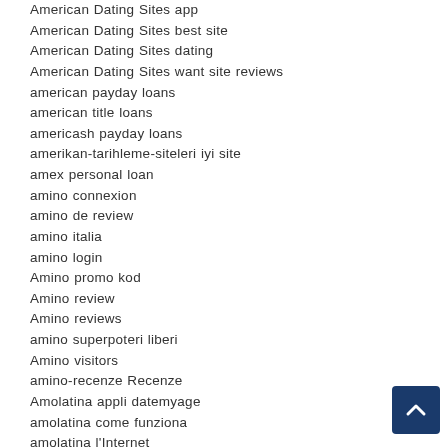American Dating Sites app
American Dating Sites best site
American Dating Sites dating
American Dating Sites want site reviews
american payday loans
american title loans
americash payday loans
amerikan-tarihleme-siteleri iyi site
amex personal loan
amino connexion
amino de review
amino italia
amino login
Amino promo kod
Amino review
Amino reviews
amino superpoteri liberi
Amino visitors
amino-recenze Recenze
Amolatina appli datemyage
amolatina come funziona
amolatina l'Internet
amolatina login
amolatina online status
amolatina review